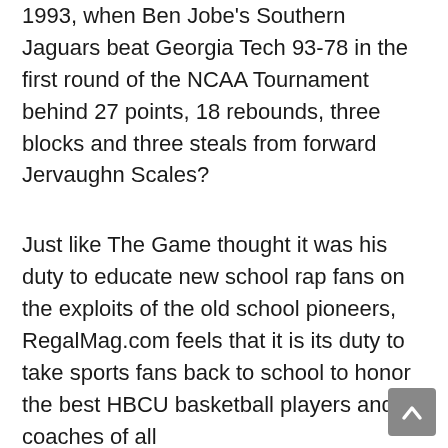1993, when Ben Jobe's Southern Jaguars beat Georgia Tech 93-78 in the first round of the NCAA Tournament behind 27 points, 18 rebounds, three blocks and three steals from forward Jervaughn Scales?
Just like The Game thought it was his duty to educate new school rap fans on the exploits of the old school pioneers, RegalMag.com feels that it is its duty to take sports fans back to school to honor the best HBCU basketball players and coaches of all